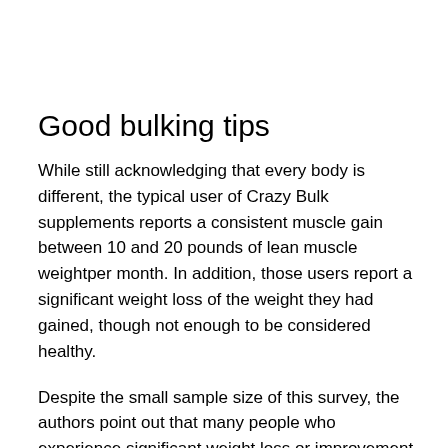Good bulking tips
While still acknowledging that every body is different, the typical user of Crazy Bulk supplements reports a consistent muscle gain between 10 and 20 pounds of lean muscle weightper month. In addition, those users report a significant weight loss of the weight they had gained, though not enough to be considered healthy.
Despite the small sample size of this survey, the authors point out that many people who experience significant weight loss or improvement in their body composition after adopting this workout routine may have also experienced additional benefits such as